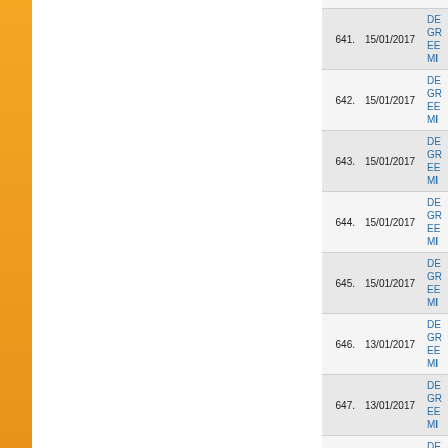| No. | Date | Description |
| --- | --- | --- |
| 641. | 15/01/2017 | DEGREE MI... |
| 642. | 15/01/2017 | DEGREE MI... |
| 643. | 15/01/2017 | DEGREE MI... |
| 644. | 15/01/2017 | DEGREE MI... |
| 645. | 15/01/2017 | DEGREE MI... |
| 646. | 13/01/2017 | DEGREE MI... |
| 647. | 13/01/2017 | DEGREE MI... |
| 648. | 13/01/2017 | DEGREE MI... |
| 649. | 13/01/2017 | DEGREE MI... |
| 650. | 12/01/2017 | DEGREE MI... |
| 651. | 12/01/2017 | DEGREE MI... |
| 652. | 12/01/2017 | DEGREE MI... |
| 653. | 06/01/2017 | REVISED-C... SEMESTER... |
| 654. | 28/12/2016 | Special Exa... 31.12.2016 |
| 655. | 26/12/2016 | CHANGE of... (December-2... |